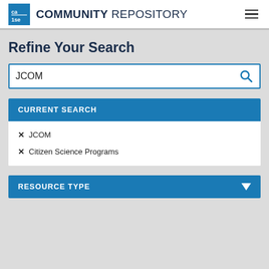COMMUNITY REPOSITORY
Refine Your Search
JCOM
CURRENT SEARCH
✕ JCOM
✕ Citizen Science Programs
RESOURCE TYPE